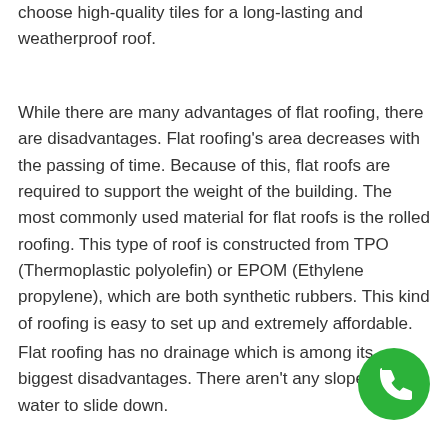choose high-quality tiles for a long-lasting and weatherproof roof.
While there are many advantages of flat roofing, there are disadvantages. Flat roofing's area decreases with the passing of time. Because of this, flat roofs are required to support the weight of the building. The most commonly used material for flat roofs is the rolled roofing. This type of roof is constructed from TPO (Thermoplastic polyolefin) or EPOM (Ethylene propylene), which are both synthetic rubbers. This kind of roofing is easy to set up and extremely affordable.
Flat roofing has no drainage which is among its biggest disadvantages. There aren't any slopes for water to slide down.
[Figure (illustration): Green circular button with a white phone/handset icon]